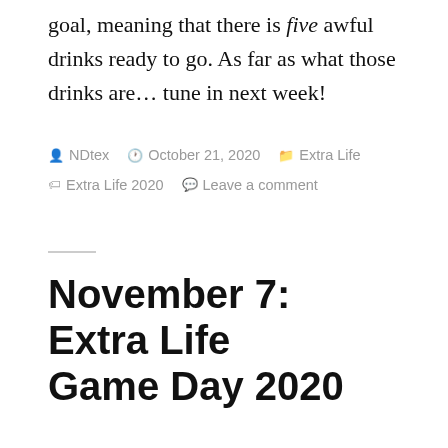goal, meaning that there is five awful drinks ready to go. As far as what those drinks are… tune in next week!
Posted by NDtex  October 21, 2020  Extra Life  Tags: Extra Life 2020  Leave a comment
November 7: Extra Life Game Day 2020